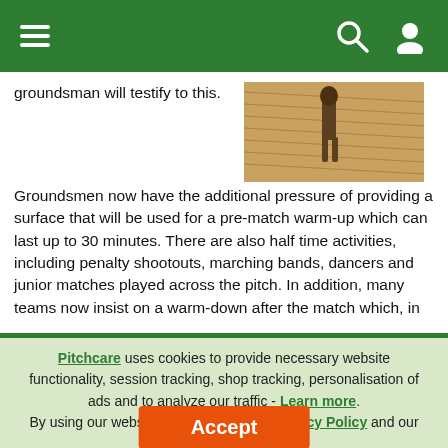Pitchcare website header with hamburger menu, search and user icons
groundsman will testify to this.
[Figure (photo): Person working on a sandy/raked pitch surface viewed from behind]
Groundsmen now have the additional pressure of providing a surface that will be used for a pre-match warm-up which can last up to 30 minutes. There are also half time activities, including penalty shootouts, marching bands, dancers and junior matches played across the pitch. In addition, many teams now insist on a warm-down after the match which, in
Pitchcare uses cookies to provide necessary website functionality, session tracking, shop tracking, personalisation of ads and to analyze our traffic - Learn more. By using our website, you agree to our Privacy Policy and our cookies usage.